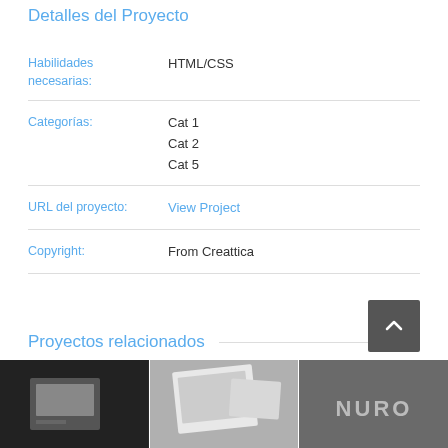Detalles del Proyecto
| Label | Value |
| --- | --- |
| Habilidades necesarias: | HTML/CSS |
| Categorías: | Cat 1
Cat 2
Cat 5 |
| URL del proyecto: | View Project |
| Copyright: | From Creattica |
Proyectos relacionados
[Figure (photo): Three thumbnail images of related projects]
[Figure (other): Back to top button with upward chevron]